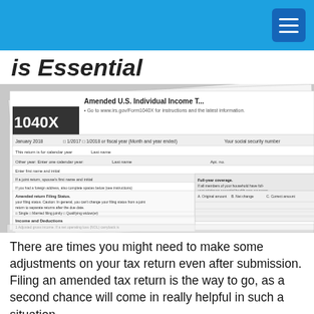is Essential
[Figure (photo): A close-up photograph of IRS Form 1040X (Amended U.S. Individual Income Tax Return), showing the form header, filing status section, Income and Deductions section, and various fields and checkboxes.]
There are times you might need to make some adjustments on your tax return even after submission. Filing an amended tax return is the way to go, as a second chance will come in really helpful in such a situation.